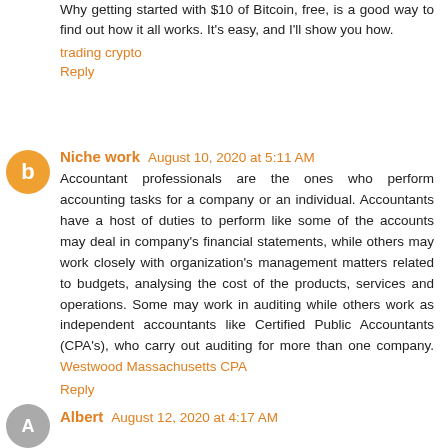Why getting started with $10 of Bitcoin, free, is a good way to find out how it all works. It's easy, and I'll show you how.
trading crypto
Reply
Niche work  August 10, 2020 at 5:11 AM
Accountant professionals are the ones who perform accounting tasks for a company or an individual. Accountants have a host of duties to perform like some of the accounts may deal in company's financial statements, while others may work closely with organization's management matters related to budgets, analysing the cost of the products, services and operations. Some may work in auditing while others work as independent accountants like Certified Public Accountants (CPA's), who carry out auditing for more than one company. Westwood Massachusetts CPA
Reply
Albert  August 12, 2020 at 4:17 AM